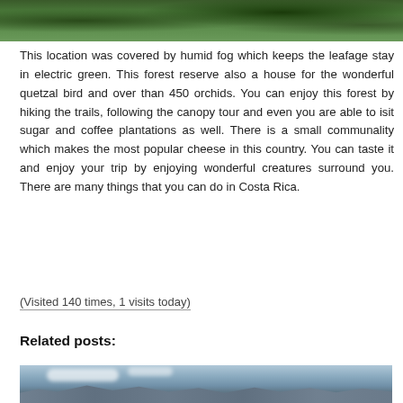[Figure (photo): Top portion of a nature/forest photo showing lush green foliage and vegetation in humid fog environment]
This location was covered by humid fog which keeps the leafage stay in electric green. This forest reserve also a house for the wonderful quetzal bird and over than 450 orchids. You can enjoy this forest by hiking the trails, following the canopy tour and even you are able to isit sugar and coffee plantations as well. There is a small communality which makes the most popular cheese in this country. You can taste it and enjoy your trip by enjoying wonderful creatures surround you. There are many things that you can do in Costa Rica.
(Visited 140 times, 1 visits today)
Related posts:
[Figure (photo): Landscape photo showing mountains and city/town view from an elevated vantage point with cloudy sky and blue-grey mountain ridges in Costa Rica]